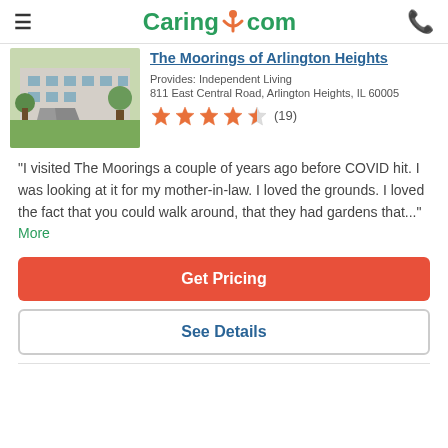Caring.com
The Moorings of Arlington Heights
Provides: Independent Living
811 East Central Road, Arlington Heights, IL 60005
[Figure (other): 4.5 out of 5 stars rating (19 reviews) — orange/salmon star icons]
"I visited The Moorings a couple of years ago before COVID hit. I was looking at it for my mother-in-law. I loved the grounds. I loved the fact that you could walk around, that they had gardens that..." More
Get Pricing
See Details